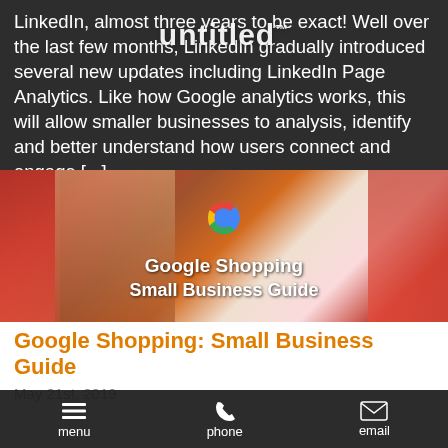LinkedIn, almost three years to be exact! Well over the last few months, LinkedIn gradually introduced several new updates including LinkedIn Page Analytics. Like how Google analytics works, this will allow smaller businesses to analysis, identify and better understand how users connect and engage [...]
[Figure (photo): Google Shopping Small Business Guide banner image showing shopping bags with Google G logo overlay and white text 'Google Shopping Small Business Guide']
Google Shopping: Small Business Guide
May 21st, 2019
Online shopping, it's an activity we all partake in almost every time we visit the world wide web. If you're anything like me, when you are looking online for a product, you will usually shop and conduct your search across a variety of brands and websites right
menu   phone   email